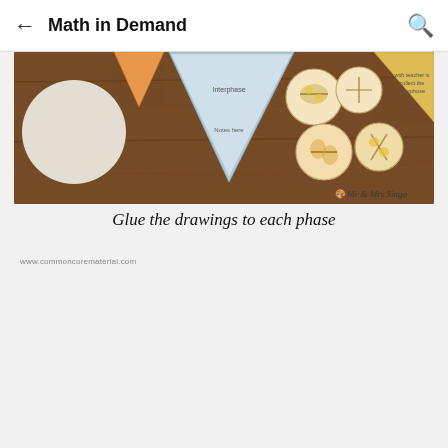← Math in Demand 🔍
[Figure (photo): Photo of craft activity showing triangular banner pieces and circular cell phase drawings on a wooden table surface, with a watermark 'Mr & Mrs Singo']
Glue the drawings to each phase
[Figure (photo): Photo of a hand holding a triangular banner piece labeled 'M Interphase' with cell drawing and Notes section, surrounded by other banner pieces and circular cell phase drawings on a wooden table. Watermark: www.commoncorematerial.com]